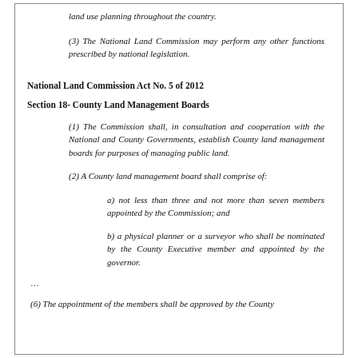land use planning throughout the country.
(3) The National Land Commission may perform any other functions prescribed by national legislation.
National Land Commission Act No. 5 of 2012
Section 18- County Land Management Boards
(1) The Commission shall, in consultation and cooperation with the National and County Governments, establish County land management boards for purposes of managing public land.
(2) A County land management board shall comprise of:
a)  not less than three and not more than seven members appointed by the Commission; and
b)  a physical planner or a surveyor who shall be nominated by the County Executive member and appointed by the governor.
…
(6) The appointment of the members shall be approved by the County